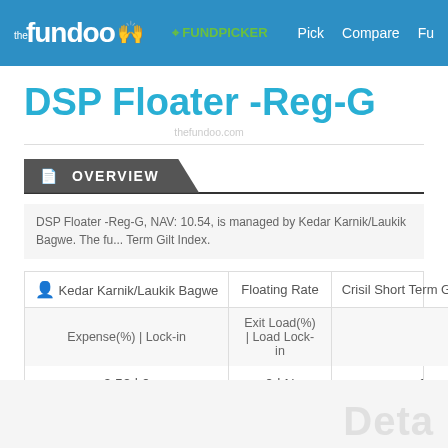theFundoo FUNDPICKER Pick Compare Fu
DSP Floater -Reg-G
thefundoo.com
OVERVIEW
DSP Floater -Reg-G, NAV: 10.54, is managed by Kedar Karnik/Laukik Bagwe. The fu... Term Gilt Index.
|  | Kedar Karnik/Laukik Bagwe | Floating Rate | Crisil Short Term Gilt Index |
| --- | --- | --- | --- |
| Expense(%) | Lock-in | Exit Load(%) | Load Lock-in |  |
| 0.52 | 0 | 0 | N | 1 |
Deta